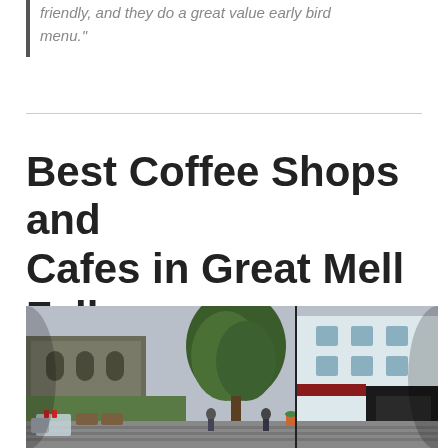friendly, and they do a great value early bird menu."
Best Coffee Shops and Cafes in Great Mell Fell
[Figure (photo): Panoramic 360-degree photo of a town square or pedestrian street area, showing outdoor cafe seating with rattan furniture on the left, a large tree in the center, and a white multi-storey building with shops at street level on the right. People and cafe chairs are visible along a cobblestone street.]